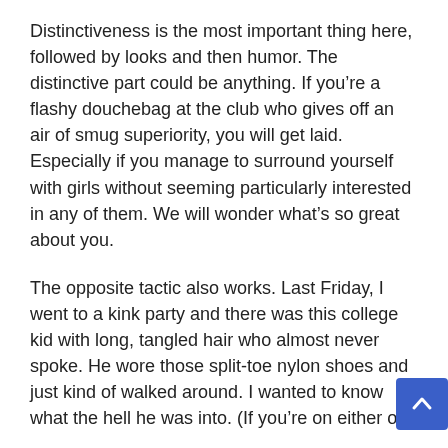Distinctiveness is the most important thing here, followed by looks and then humor. The distinctive part could be anything. If you're a flashy douchebag at the club who gives off an air of smug superiority, you will get laid. Especially if you manage to surround yourself with girls without seeming particularly interested in any of them. We will wonder what's so great about you.
The opposite tactic also works. Last Friday, I went to a kink party and there was this college kid with long, tangled hair who almost never spoke. He wore those split-toe nylon shoes and just kind of walked around. I wanted to know what the hell he was into. (If you're on either of